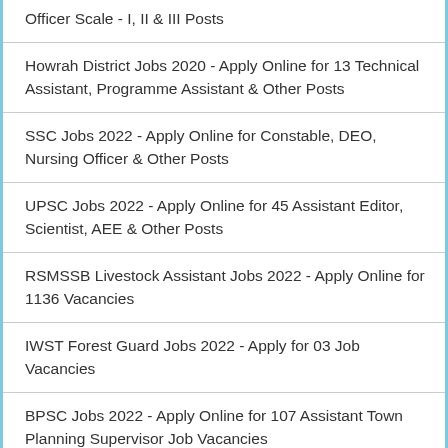Officer Scale - I, II & III Posts
Howrah District Jobs 2020 - Apply Online for 13 Technical Assistant, Programme Assistant & Other Posts
SSC Jobs 2022 - Apply Online for Constable, DEO, Nursing Officer & Other Posts
UPSC Jobs 2022 - Apply Online for 45 Assistant Editor, Scientist, AEE & Other Posts
RSMSSB Livestock Assistant Jobs 2022 - Apply Online for 1136 Vacancies
IWST Forest Guard Jobs 2022 - Apply for 03 Job Vacancies
BPSC Jobs 2022 - Apply Online for 107 Assistant Town Planning Supervisor Job Vacancies